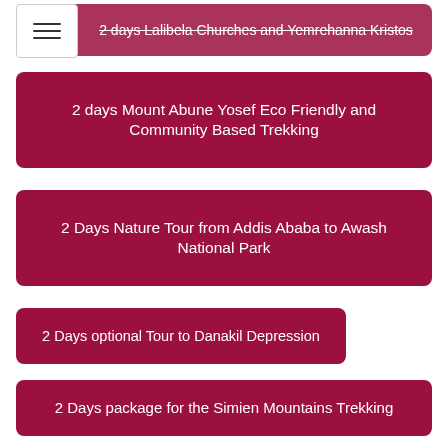[Figure (other): Hamburger menu icon in top left corner]
2 days Lalibela Churches and Yemrehanna Kristos
2 days Mount Abune Yosef Eco Friendly and Community Based Trekking
2 Days Nature Tour from Addis Ababa to Awash National Park
2 Days optional Tour to Danakil Depression
2 Days package for the Simien Mountains Trekking